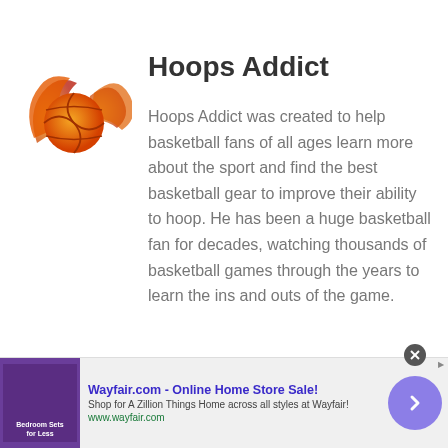[Figure (logo): Hoops Addict logo: orange and red flaming basketball with wing/flame design]
Hoops Addict
Hoops Addict was created to help basketball fans of all ages learn more about the sport and find the best basketball gear to improve their ability to hoop. He has been a huge basketball fan for decades, watching thousands of basketball games through the years to learn the ins and outs of the game.
[Figure (advertisement): Wayfair.com - Online Home Store Sale! advertisement banner with purple bedroom sets image, ad title, subtitle, and URL www.wayfair.com]